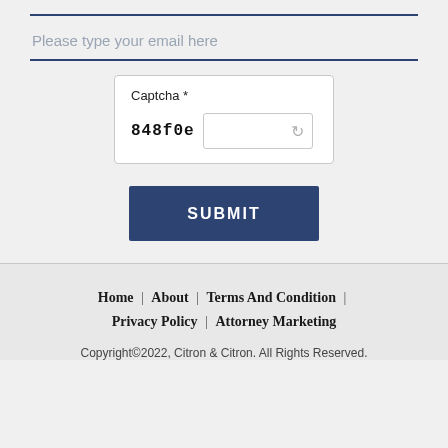Please type your email here
[Figure (screenshot): Captcha widget with code '848f0e', an input field, and a refresh icon]
SUBMIT
Home | About | Terms And Condition | Privacy Policy | Attorney Marketing
Copyright©2022, Citron & Citron. All Rights Reserved.